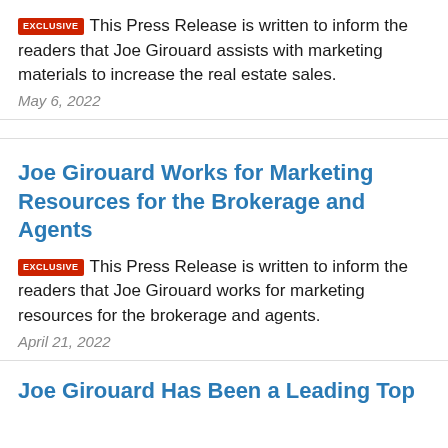EXCLUSIVE This Press Release is written to inform the readers that Joe Girouard assists with marketing materials to increase the real estate sales.
May 6, 2022
Joe Girouard Works for Marketing Resources for the Brokerage and Agents
EXCLUSIVE This Press Release is written to inform the readers that Joe Girouard works for marketing resources for the brokerage and agents.
April 21, 2022
Joe Girouard Has Been a Leading Top